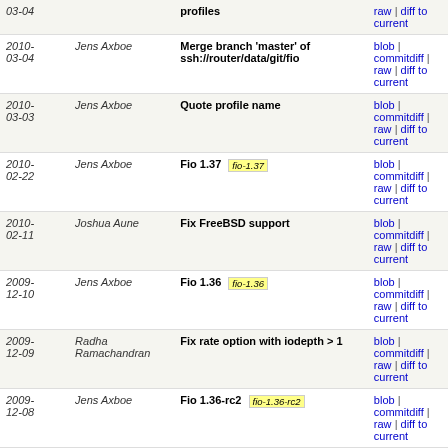| Date | Author | Message | Links |
| --- | --- | --- | --- |
| 2010-03-04 | Jens Axboe | Merge branch 'master' of ssh://router/data/git/fio | blob | commitdiff | raw | diff to current |
| 2010-03-03 | Jens Axboe | Quote profile name | blob | commitdiff | raw | diff to current |
| 2010-02-22 | Jens Axboe | Fio 1.37  fio-1.37 | blob | commitdiff | raw | diff to current |
| 2010-02-11 | Joshua Aune | Fix FreeBSD support | blob | commitdiff | raw | diff to current |
| 2009-12-10 | Jens Axboe | Fio 1.36  fio-1.36 | blob | commitdiff | raw | diff to current |
| 2009-12-09 | Radha Ramachandran | Fix rate option with iodepth > 1 | blob | commitdiff | raw | diff to current |
| 2009-12-08 | Jens Axboe | Fio 1.36-rc2  fio-1.36-rc2 | blob | commitdiff | raw | diff to current |
| 2009-12-08 | Jens Axboe | Add support for specifying UID/GID | blob | commitdiff | raw | diff to current |
| 2009-12-05 | Jens Axboe | Fio 1.36-rc1  fio-1.36-rc1 | blob | commitdiff | raw | diff to current |
| 2009-11-13 | Jens Axboe | Correct size of tiobench profile | blob | commitdiff | raw | diff to current |